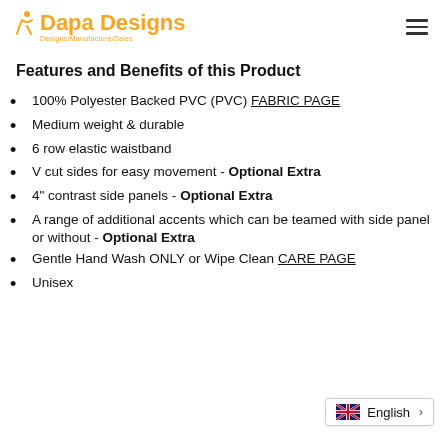Dapa Designs - Designs/Manufacture/Sales
Features and Benefits of this Product
100% Polyester Backed PVC (PVC) FABRIC PAGE
Medium weight & durable
6 row elastic waistband
V cut sides for easy movement - Optional Extra
4" contrast side panels - Optional Extra
A range of additional accents which can be teamed with side panel or without - Optional Extra
Gentle Hand Wash ONLY or Wipe Clean CARE PAGE
Unisex